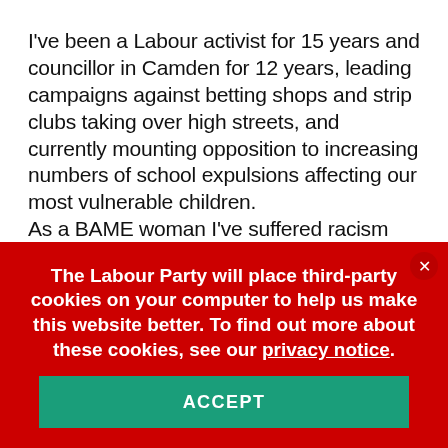I've been a Labour activist for 15 years and councillor in Camden for 12 years, leading campaigns against betting shops and strip clubs taking over high streets, and currently mounting opposition to increasing numbers of school expulsions affecting our most vulnerable children. As a BAME woman I've suffered racism throughout my life, so I know from direct personal experience that we must eradicate all forms of discrimination in our Party. I'm a lifelong equalities advocate and have used my voice as a councillor to speak up for those experiencing racism, disability discrimination and to fight for women's safety
The Labour Party will place third-party cookies on your computer to help us make this website better. To find out more about these cookies, see our privacy notice.
ACCEPT